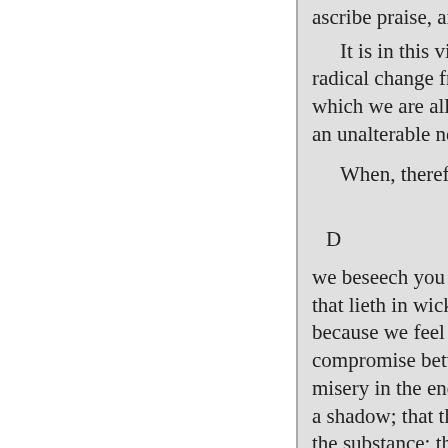ascribe praise, and honor, an...
It is in this view that the Sc... radical change from our natur... which we are all conceived an... an unalterable necessity; grou...
When, therefore, as your ap...
D
we beseech you in Christ's ste... that lieth in wickedness-its ma... because we feel that we are pl... compromise between the worl... misery in the end. They will fi... a shadow; that their religion w... the substance; they have lost h...
If this would appear to any ... this language means. You mus... amount to ? It is in other word... the preparation for it, that this... severe condition ?
If any of you, my brethren, ... happy in the ways you are no...